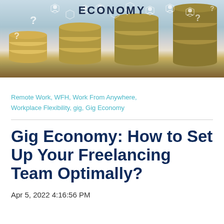[Figure (photo): Hero banner image showing stacked coins with digital gig economy icons and question marks overlaid, with the word ECONOMY displayed prominently at the top center]
Remote Work, WFH, Work From Anywhere, Workplace Flexibility, gig, Gig Economy
Gig Economy: How to Set Up Your Freelancing Team Optimally?
Apr 5, 2022 4:16:56 PM